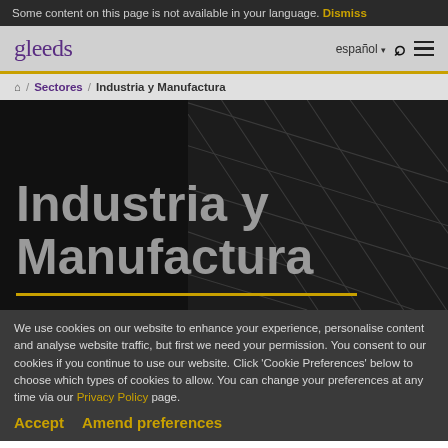Some content on this page is not available in your language. Dismiss
[Figure (logo): Gleeds logo in purple text, navigation bar with español language selector, search icon, and menu icon]
🏠 / Sectores / Industria y Manufactura
Industria y Manufactura
We use cookies on our website to enhance your experience, personalise content and analyse website traffic, but first we need your permission. You consent to our cookies if you continue to use our website. Click 'Cookie Preferences' below to choose which types of cookies to allow. You can change your preferences at any time via our Privacy Policy page.
Accept    Amend preferences